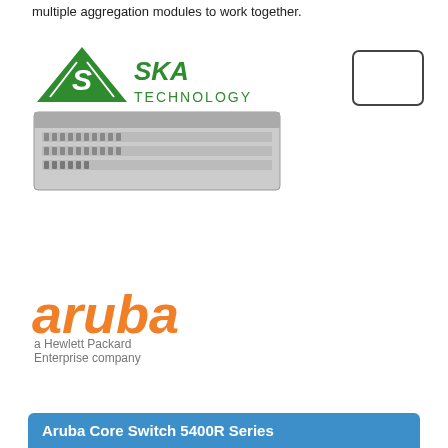multiple aggregation modules to work together.
[Figure (logo): SKA Technology logo with green triangle and green text]
[Figure (photo): HP/Aruba network core switch hardware, grey rack-mount device]
[Figure (logo): Aruba - a Hewlett Packard Enterprise company logo in orange]
Aruba Core Switch 5400R Series
[Figure (photo): Aruba Core Switch 5400R series product images on coloured backgrounds (pink, yellow, teal)]